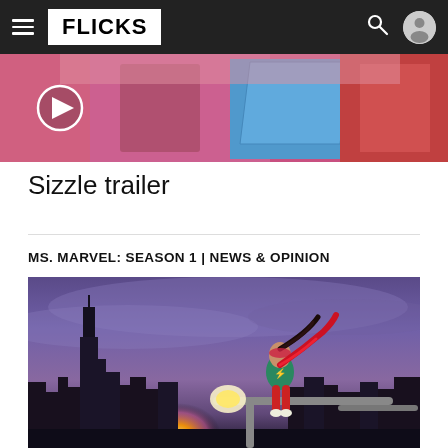FLICKS
[Figure (screenshot): Comic book style thumbnail image showing colorful comic art panels with a play button circle overlay on the left side]
Sizzle trailer
MS. MARVEL: SEASON 1  |  NEWS & OPINION
[Figure (photo): Ms. Marvel (Kamala Khan) in her superhero costume sitting on a street lamp post with a city skyline and dramatic purple/sunset sky in the background]